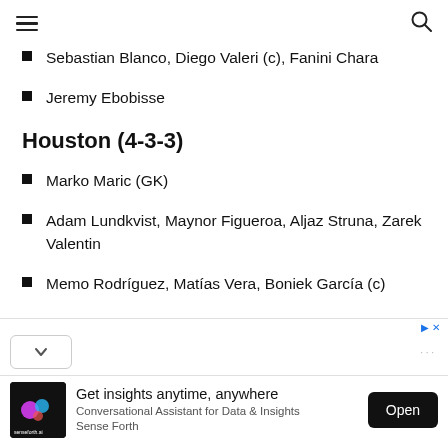Sebastian Blanco, Diego Valeri (c), Fanini Chara
Jeremy Ebobisse
Houston (4-3-3)
Marko Maric (GK)
Adam Lundkvist, Maynor Figueroa, Aljaz Struna, Zarek Valentin
Memo Rodríguez, Matías Vera, Boniek García (c)
[Figure (other): Advertisement banner: Get insights anytime, anywhere — Conversational Assistant for Data & Insights Sense Forth, with Open button]